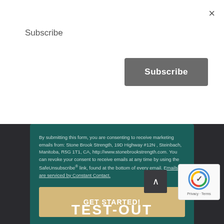×
Subscribe
Subscribe
By submitting this form, you are consenting to receive marketing emails from: Stone Brook Strength, 19D Highway #12N , Steinbach, Manitoba, R5G 1T1, CA, http://www.stonebrookstrength.com. You can revoke your consent to receive emails at any time by using the SafeUnsubscribe® link, found at the bottom of every email. Emails are serviced by Constant Contact.
GET STARTED!
TEST-OUT